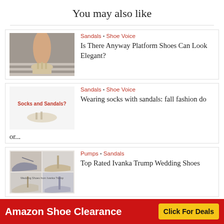You may also like
[Figure (photo): Woman sitting on steps wearing platform sandals]
Sandals · Shoe Voice
Is There Anyway Platform Shoes Can Look Elegant?
[Figure (photo): Text graphic: Socks and Sandals?]
Sandals · Shoe Voice
Wearing socks with sandals: fall fashion do or...
[Figure (photo): Collage of Ivanka Trump wedding shoes — strappy heels and sandals]
Pumps · Sandals
Top Rated Ivanka Trump Wedding Shoes
[Figure (photo): Collage of cork wedge sandals with ankle strap in multiple colors]
Sandals
Cork Wedge Sandals with Ankle Strap 2.5-5 Inches Heel
Amazon Shoe Clearance  Click For Deals